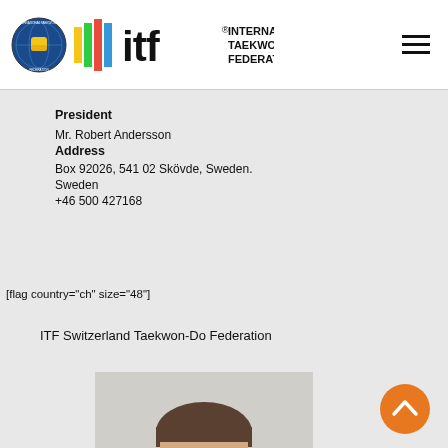[Figure (logo): ITF International Taekwon-Do Federation logo with circular emblem and colorful bars]
President
Mr. Robert Andersson
Address
Box 92026, 541 02 Skövde, Sweden.
Sweden
+46 500 427168
[flag country="ch" size="48"]
ITF Switzerland Taekwon-Do Federation
[Figure (photo): Portrait photo of a man with short hair and glasses wearing a dark suit]